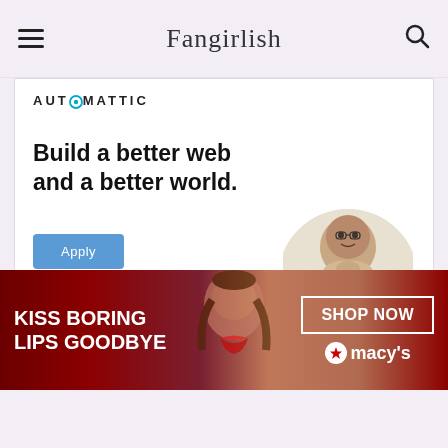Fangirlish
[Figure (screenshot): Automattic advertisement: 'Build a better web and a better world.' with an Apply button and a circular photo of a man thinking at a desk]
REPORT THIS AD
Fangirlish
[Figure (screenshot): Macy's advertisement banner: 'KISS BORING LIPS GOODBYE' with a woman's face and red lips, SHOP NOW button and Macy's star logo]